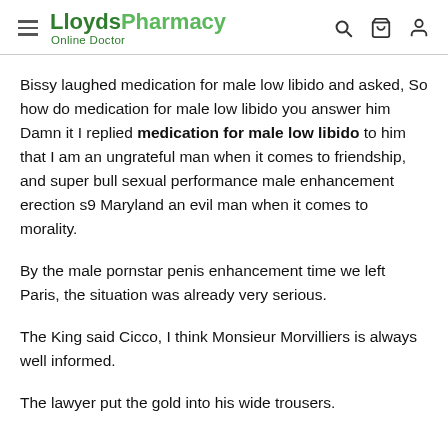LloydsPharmacy Online Doctor
Bissy laughed medication for male low libido and asked, So how do medication for male low libido you answer him Damn it I replied medication for male low libido to him that I am an ungrateful man when it comes to friendship, and super bull sexual performance male enhancement erection s9 Maryland an evil man when it comes to morality.
By the male pornstar penis enhancement time we left Paris, the situation was already very serious.
The King said Cicco, I think Monsieur Morvilliers is always well informed.
The lawyer put the gold into his wide trousers.